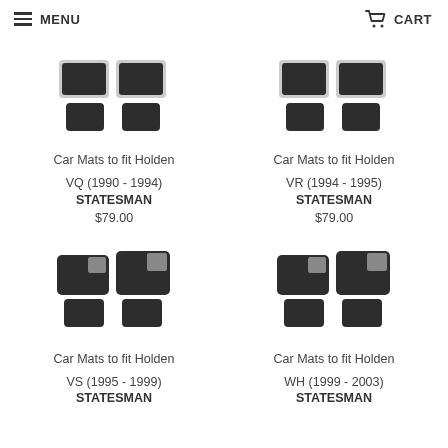MENU   CART
[Figure (photo): Car mats set for Holden VQ Statesman - dark carpet mats on white background]
Car Mats to fit Holden VQ (1990 - 1994) STATESMAN
$79.00
[Figure (photo): Car mats set for Holden VR Statesman - dark carpet mats on white background]
Car Mats to fit Holden VR (1994 - 1995) STATESMAN
$79.00
[Figure (photo): Car mats set for Holden VS Statesman - dark carpet mats with heel pad on white background]
Car Mats to fit Holden VS (1995 - 1999) STATESMAN
[Figure (photo): Car mats set for Holden WH Statesman - dark carpet mats with heel pad on white background]
Car Mats to fit Holden WH (1999 - 2003) STATESMAN